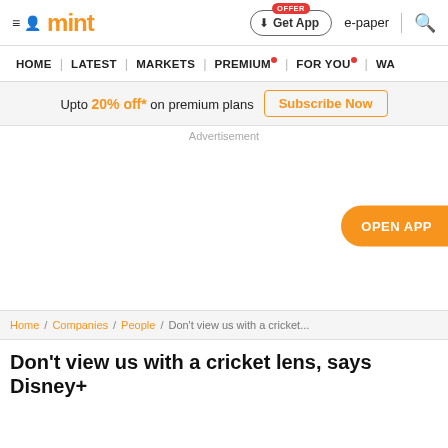mint — Get App | e-paper | Search
HOME | LATEST | MARKETS | PREMIUM | FOR YOU | WA
Upto 20% off* on premium plans  Subscribe Now
Advertisement
OPEN APP
Home / Companies / People / Don't view us with a cricket...
Don't view us with a cricket lens, says Disney+